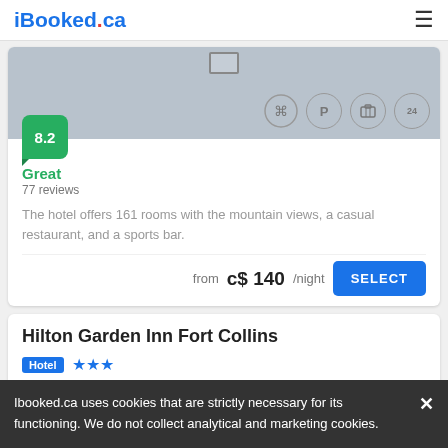iBooked.ca
[Figure (screenshot): Hotel listing card with gray placeholder image, 8.2 rating badge, Great / 77 reviews, amenity icons, description text, price from C$140/night, and SELECT button]
Great
77 reviews
The hotel offers 161 rooms with the mountain views, a casual restaurant, and a sports bar.
from  c$ 140/night
Hilton Garden Inn Fort Collins
Hotel ★★★
Ibooked.ca uses cookies that are strictly necessary for its functioning. We do not collect analytical and marketing cookies.